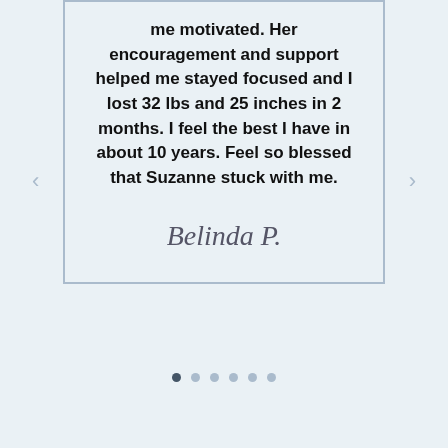me motivated. Her encouragement and support helped me stayed focused and I lost 32 lbs and 25 inches in 2 months. I feel the best I have in about 10 years. Feel so blessed that Suzanne stuck with me.
Belinda P.